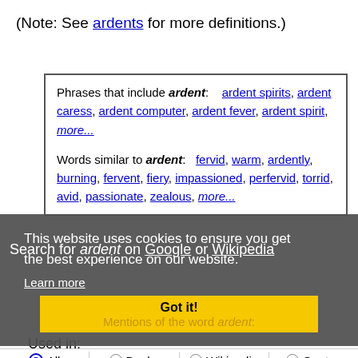(Note: See ardents for more definitions.)
Phrases that include ardent: ardent spirits, ardent caress, ardent computer, ardent fever, ardent spirit, more... Words similar to ardent: fervid, warm, ardently, burning, fervent, fiery, impassioned, perfervid, torrid, avid, passionate, zealous, more...
This website uses cookies to ensure you get the best experience on our website.
Learn more
Search for ardent on Google or Wikipedia
Got it!
Mentions of the word ardent:
Used in:
All   Books   Wikipedia   Quotes